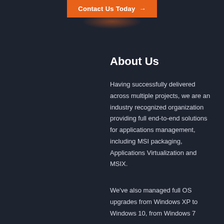[Figure (other): Orange 'Contact Us Today →' button with radial glow effect below it on dark background]
About Us
Having successfully delivered across multiple projects, we are an industry recognized organization providing full end-to-end solutions for applications management, including MSI packaging, Applications Virtualization and MSIX.
We've also managed full OS upgrades from Windows XP to Windows 10, from Windows 7